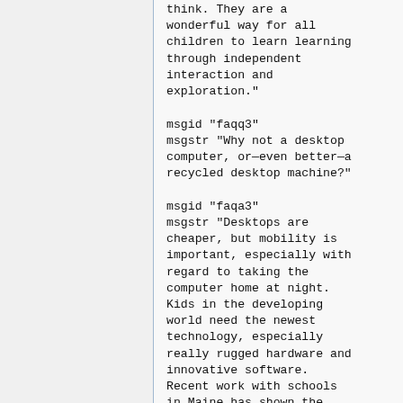think. They are a wonderful way for all children to learn learning through independent interaction and exploration."

msgid "faqq3"
msgstr "Why not a desktop computer, or—even better—a recycled desktop machine?"

msgid "faqa3"
msgstr "Desktops are cheaper, but mobility is important, especially with regard to taking the computer home at night. Kids in the developing world need the newest technology, especially really rugged hardware and innovative software. Recent work with schools in Maine has shown the